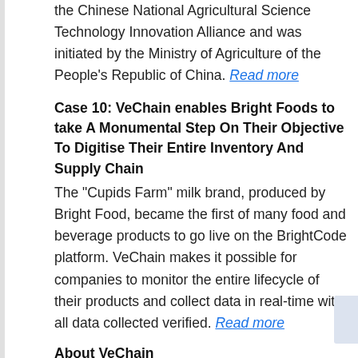the Chinese National Agricultural Science Technology Innovation Alliance and was initiated by the Ministry of Agriculture of the People's Republic of China. Read more
Case 10: VeChain enables Bright Foods to take A Monumental Step On Their Objective To Digitise Their Entire Inventory And Supply Chain
The "Cupids Farm" milk brand, produced by Bright Food, became the first of many food and beverage products to go live on the BrightCode platform. VeChain makes it possible for companies to monitor the entire lifecycle of their products and collect data in real-time with all data collected verified. Read more
About VeChain
Launched in 2015, VeChain Technology is a global leading enterprise-friendly blockchain company which aims to connect blockchain technology to the real world by providing enterprises with blockchain-enabled solutions